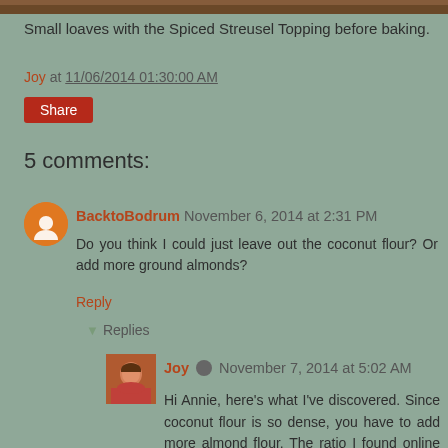[Figure (photo): Top portion of a photo showing small loaves with Spiced Streusel Topping before baking, partially cropped at top of page]
Small loaves with the Spiced Streusel Topping before baking.
Joy at 11/06/2014 01:30:00 AM
Share
5 comments:
BacktoBodrum November 6, 2014 at 2:31 PM
Do you think I could just leave out the coconut flour? Or add more ground almonds?
Reply
Replies
Joy November 7, 2014 at 5:02 AM
Hi Annie, here's what I've discovered. Since coconut flour is so dense, you have to add more almond flour. The ratio I found online is 1 cup coconut flour = 1 1/3 cups almond flour.